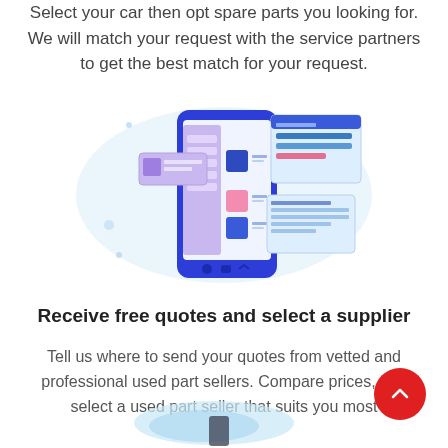Select your car then opt spare parts you looking for. We will match your request with the service partners to get the best match for your request.
[Figure (illustration): A mobile phone/tablet showing a UI with purple list panels, pink and blue colored blocks, and floating UI windows with text fields and blue bars, on a light blue cloud background.]
Receive free quotes and select a supplier
Tell us where to send your quotes from vetted and professional used part sellers. Compare prices, and select a used part seller that suits you most.
[Figure (illustration): Partial bottom illustration showing a light blue abstract shape with a dark object, partially visible at the bottom of the page.]